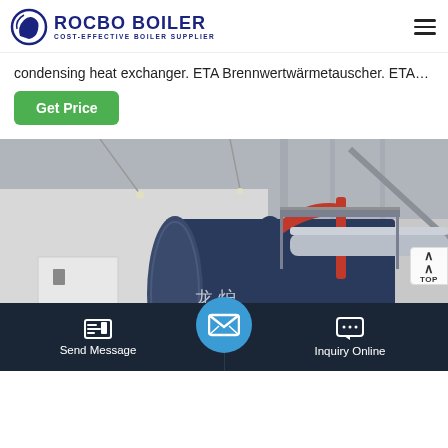ROCBO BOILER - COST-EFFECTIVE BOILER SUPPLIER
condensing heat exchanger. ETA Brennwertwärmetauscher. ETA…
Get Price
[Figure (photo): Industrial boiler system in a facility showing a large dark blue horizontal boiler tank with red and silver piping, a white electrical cabinet, metal walkway platforms, and overhead structural elements.]
Send Message | Inquiry Online